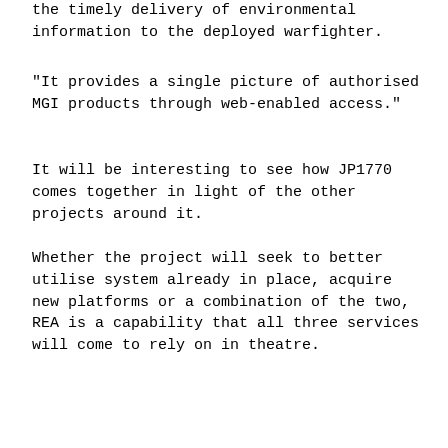the timely delivery of environmental information to the deployed warfighter.
"It provides a single picture of authorised MGI products through web-enabled access."
It will be interesting to see how JP1770 comes together in light of the other projects around it.
Whether the project will seek to better utilise system already in place, acquire new platforms or a combination of the two, REA is a capability that all three services will come to rely on in theatre.